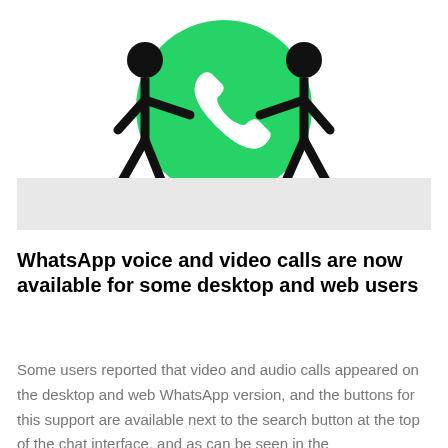[Figure (illustration): Two black stick figure people holding a large green WhatsApp logo (speech bubble with phone handset icon) between them, with a light gray horizontal bar behind the figures near the bottom of the illustration.]
WhatsApp voice and video calls are now available for some desktop and web users
Some users reported that video and audio calls appeared on the desktop and web WhatsApp version, and the buttons for this support are available next to the search button at the top of the chat interface, and as can be seen in the